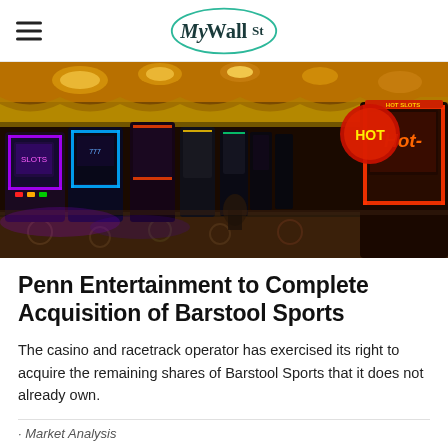MyWallSt
[Figure (photo): Interior of a casino floor showing rows of colorful slot machines with bright neon lights, golden ceiling decorations, and ornate patterned carpet.]
Penn Entertainment to Complete Acquisition of Barstool Sports
The casino and racetrack operator has exercised its right to acquire the remaining shares of Barstool Sports that it does not already own.
Market Analysis